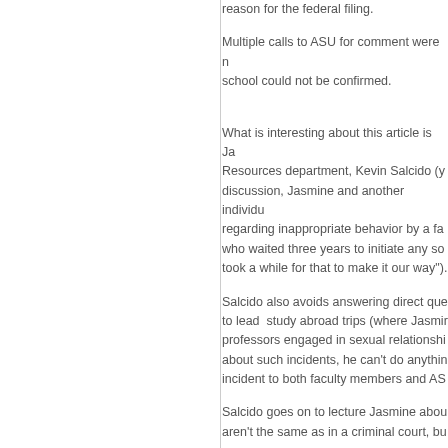reason for the federal filing.
Multiple calls to ASU for comment were not returned, and employment with the school could not be confirmed.
What is interesting about this article is Ja... Resources department, Kevin Salcido (y... discussion, Jasmine and another individu... regarding inappropriate behavior by a fa... who waited three years to initiate any so... took a while for that to make it our way").
Salcido also avoids answering direct que... to lead  study abroad trips (where Jasmir... professors engaged in sexual relationshi... about such incidents, he can't do anythin... incident to both faculty members and AS...
Salcido goes on to lecture Jasmine abou... aren't the same as in a criminal court, bu...